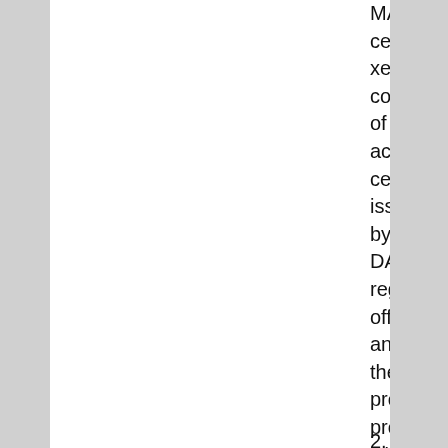MANCOM, certified xerox copy of accreditation certificate issued by the DAR regional office and the project proposal with training design.
2.